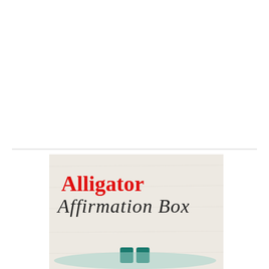[Figure (illustration): Logo image for 'Alligator Affirmation Box' with bold red serif text reading 'Alligator' and cursive/italic dark text reading 'Affirmation Box' on a cream/beige textured background, with teal-colored items visible at the bottom]